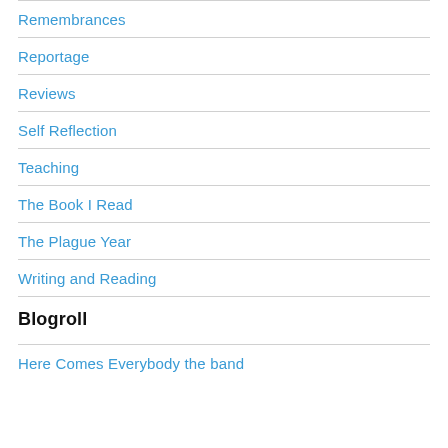Remembrances
Reportage
Reviews
Self Reflection
Teaching
The Book I Read
The Plague Year
Writing and Reading
Blogroll
Here Comes Everybody the band